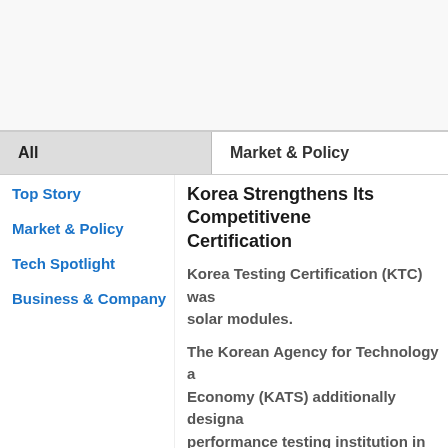[Figure (photo): Top banner image area, appears blank/white]
All
Market & Policy
Top Story
Market & Policy
Tech Spotlight
Business & Company
Korea Strengthens Its Competitiveness through Certification
Korea Testing Certification (KTC) was... solar modules.
The Korean Agency for Technology a... Economy (KATS) additionally designa... performance testing institution in the... The Korean Agency for Technology a... modules have an increasing demand... energy technologies, and the equipm... the requirements of appointment. KA... increase in certification demand in th... testing service through competition...